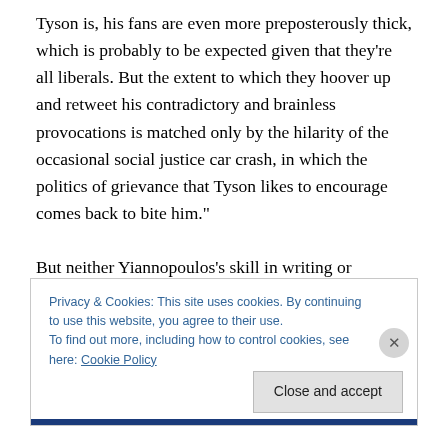Tyson is, his fans are even more preposterously thick, which is probably to be expected given that they're all liberals. But the extent to which they hoover up and retweet his contradictory and brainless provocations is matched only by the hilarity of the occasional social justice car crash, in which the politics of grievance that Tyson likes to encourage comes back to bite him."

But neither Yiannopoulos's skill in writing or debating can fully explain his meteoric ascent. Beyond the mechanics of his profession, Yiannopoulos is himself remarkable. For
Privacy & Cookies: This site uses cookies. By continuing to use this website, you agree to their use.
To find out more, including how to control cookies, see here: Cookie Policy
Close and accept